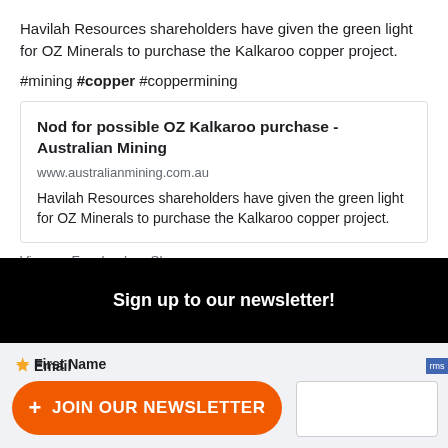Havilah Resources shareholders have given the green light for OZ Minerals to purchase the Kalkaroo copper project.
#mining #copper #coppermining
Nod for possible OZ Kalkaroo purchase - Australian Mining
www.australianmining.com.au
Havilah Resources shareholders have given the green light for OZ Minerals to purchase the Kalkaroo copper project.
View on Facebook · Share
Sign up to our newsletter!
* Email
+ JOIN OUR NEWSLETTER
* First Name